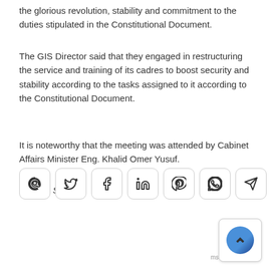the glorious revolution, stability and commitment to the duties stipulated in the Constitutional Document.
The GIS Director said that they engaged in restructuring the service and training of its cadres to boost security and stability according to the tasks assigned to it according to the Constitutional Document.
It is noteworthy that the meeting was attended by Cabinet Affairs Minister Eng. Khalid Omer Yusuf.
Source: Suna
[Figure (infographic): Social media sharing buttons: email (@), Twitter, Facebook, LinkedIn, Pinterest, WhatsApp, Telegram/send]